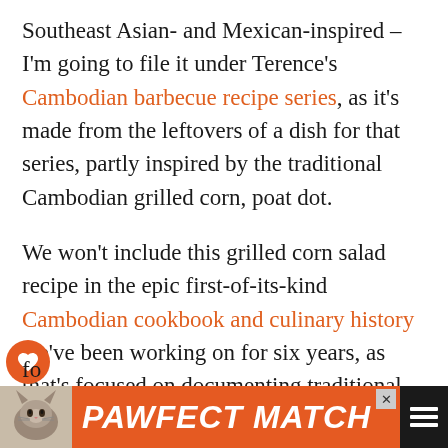Southeast Asian- and Mexican-inspired – I'm going to file it under Terence's Cambodian barbecue recipe series, as it's made from the leftovers of a dish for that series, partly inspired by the traditional Cambodian grilled corn, poat dot.

We won't include this grilled corn salad recipe in the epic first-of-its-kind Cambodian cookbook and culinary history we've been working on for six years, as that's focused on documenting traditional Cambodian recipes. (We're still seeking patrons for that project on Patreon and you can support it for little as the price of a cob of corn per month!) But we might just include it in our Cambodian street fo...
[Figure (screenshot): Advertisement banner at the bottom: orange background with cat image on left, bold italic white text 'PAWFECT MATCH', close button (X), and dark icon on right.]